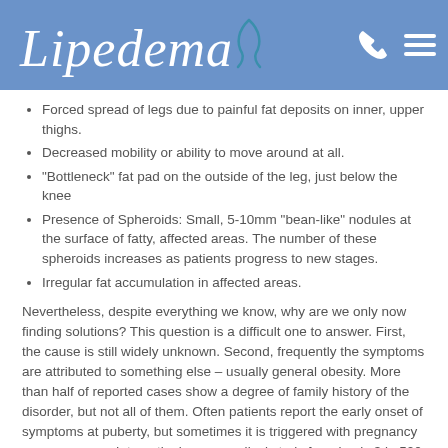Lipedema
Forced spread of legs due to painful fat deposits on inner, upper thighs.
Decreased mobility or ability to move around at all.
“Bottleneck” fat pad on the outside of the leg, just below the knee
Presence of Spheroids: Small, 5-10mm “bean-like” nodules at the surface of fatty, affected areas. The number of these spheroids increases as patients progress to new stages.
Irregular fat accumulation in affected areas.
Nevertheless, despite everything we know, why are we only now finding solutions? This question is a difficult one to answer. First, the cause is still widely unknown. Second, frequently the symptoms are attributed to something else – usually general obesity. More than half of reported cases show a degree of family history of the disorder, but not all of them. Often patients report the early onset of symptoms at puberty, but sometimes it is triggered with pregnancy or menopause. Interestingly, one medical study found only 3 in 500 Lipedema patients suffered from Type II Diabetes, suggesting that